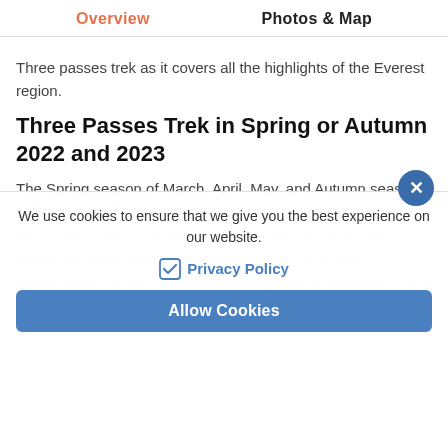Overview   Photos & Map
Three passes trek as it covers all the highlights of the Everest region.
Three Passes Trek in Spring or Autumn 2022 and 2023
The Spring season of March, April, May, and Autumn seasons of September, October, and November are the best time to do the Three Passes Trekking in Nepal. The climate is quite stable and the individual days are typically mild, with temperatures as low as the clear sky getting during Spring and 2022.
We use cookies to ensure that we give you the best experience on our website.
Privacy Policy
Allow Cookies